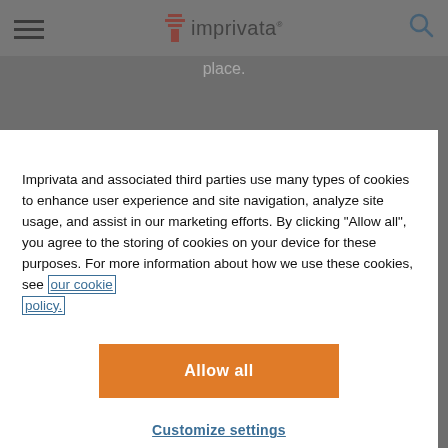imprivata
place.
Imprivata and associated third parties use many types of cookies to enhance user experience and site navigation, analyze site usage, and assist in our marketing efforts. By clicking “Allow all”, you agree to the storing of cookies on your device for these purposes. For more information about how we use these cookies, see our cookie policy.
Allow all
Customize settings